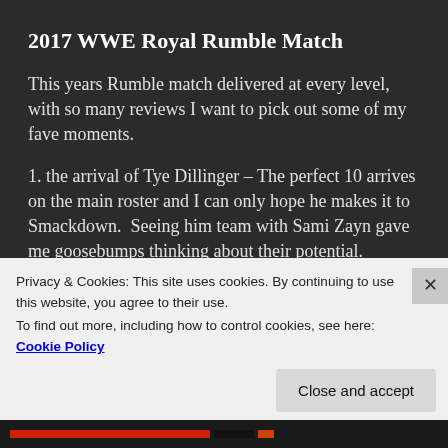2017 WWE Royal Rumble Match
This years Rumble match delivered at every level, with so many reviews I want to pick out some of my fave moments.
1. the arrival of Tye Dillinger – The perfect 10 arrives on the main roster and I can only hope he makes it to Smackdown.  Seeing him team with Sami Zayn gave me goosebumps thinking about their potential.
2. Jack Gallagher and his umbrella – What a way to make
Privacy & Cookies: This site uses cookies. By continuing to use this website, you agree to their use.
To find out more, including how to control cookies, see here: Cookie Policy
Close and accept